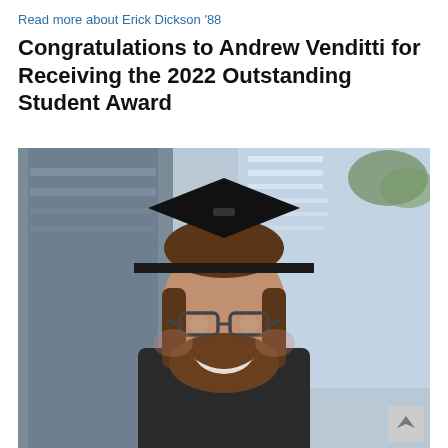Read more about Erick Dickson '88
Congratulations to Andrew Venditti for Receiving the 2022 Outstanding Student Award
[Figure (photo): Portrait photo of Andrew Venditti wearing a black graduation cap (mortarboard) and smiling, with glasses and a beard, standing in front of a glass building entrance]